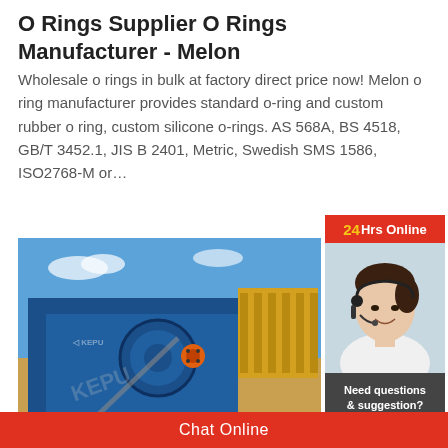O Rings Supplier O Rings Manufacturer - Melon
Wholesale o rings in bulk at factory direct price now! Melon o ring manufacturer provides standard o-ring and custom rubber o ring, custom silicone o-rings. AS 568A, BS 4518, GB/T 3452.1, JIS B 2401, Metric, Swedish SMS 1586, ISO2768-M or…
[Figure (photo): Industrial blue machinery (crusher or similar heavy equipment) photographed outdoors against a blue sky with yellow equipment in the background. Watermark text KEPU visible.]
[Figure (photo): Customer service representative wearing a headset, smiling, with banner text '24Hrs Online' in red/gold at top, 'Need questions & suggestion?' and 'Chat Now' button below.]
Chat Online
Enquire